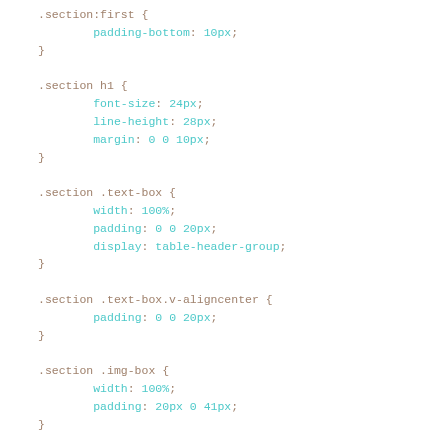.section:first { padding-bottom: 10px; }
.section h1 { font-size: 24px; line-height: 28px; margin: 0 0 10px; }
.section .text-box { width: 100%; padding: 0 0 20px; display: table-header-group; }
.section .text-box.v-aligncenter { padding: 0 0 20px; }
.section .img-box { width: 100%; padding: 20px 0 41px; }
.section .img-box img { max-width: 250px; margin: 0 auto; }